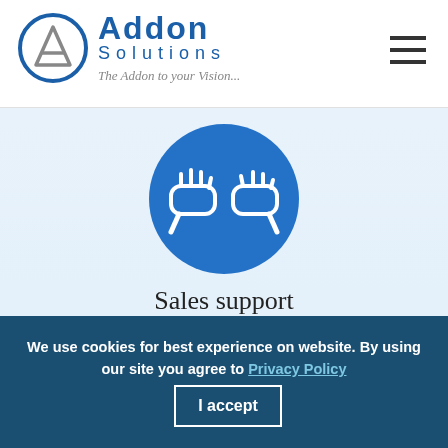[Figure (logo): Addon Solutions logo with circular icon containing a triangle/letter A shape, blue text 'Addon Solutions', and tagline 'The Addon to your Vision...']
[Figure (illustration): Blue circle with white handshake/fist bump icon representing sales support]
Sales support
We are giving the sales support 100% to our clients
We use cookies for best experience on website. By using our site you agree to Privacy Policy  I accept